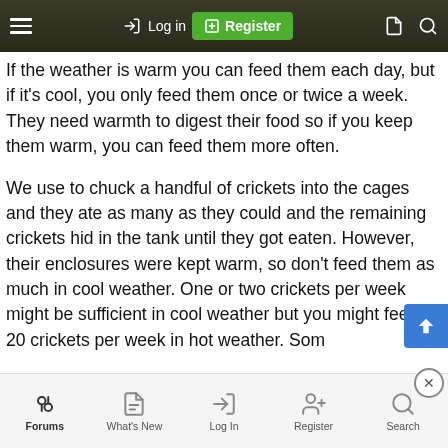Log in  Register
If the weather is warm you can feed them each day, but if it's cool, you only feed them once or twice a week. They need warmth to digest their food so if you keep them warm, you can feed them more often.
We use to chuck a handful of crickets into the cages and they ate as many as they could and the remaining crickets hid in the tank until they got eaten. However, their enclosures were kept warm, so don't feed them as much in cool weather. One or two crickets per week might be sufficient in cool weather but you might feed 20 crickets per week in hot weather. Some lizards will eat more than others too so offer a few at a time
Forums  What's New  Log In  Register  Search